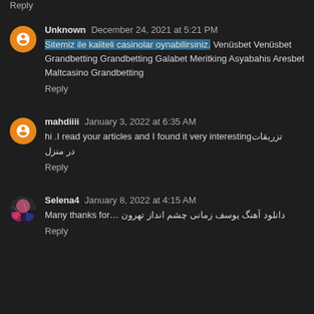Reply
Unknown  December 24, 2021 at 5:21 PM
Sitemiz ile kaliteli casinolar oynabilirsiniz. Venüsbet Venüsbet Grandbetting Grandbetting Galabet Meritking Asyabahis Aresbet Maltcasino Grandbetting
Reply
mahdiiii  January 3, 2022 at 6:35 AM
hi .I read your articles and I found it very interesting تزریقات در منزل
Reply
Selena4  January 8, 2022 at 4:15 AM
Many thanks for… دانلود آهنگ یوسف زمانی چشم انداز تهرون
Reply